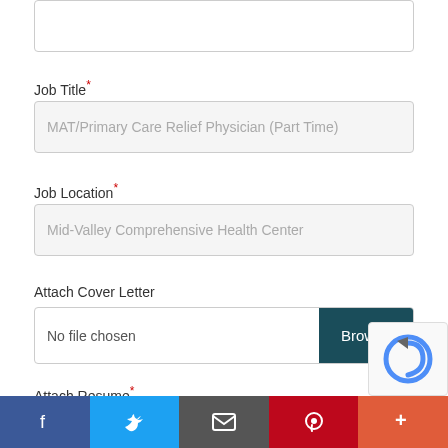[text area box top]
Job Title*
MAT/Primary Care Relief Physician (Part Time)
Job Location*
Mid-Valley Comprehensive Health Center
Attach Cover Letter
No file chosen  Browse
Attach Resume*